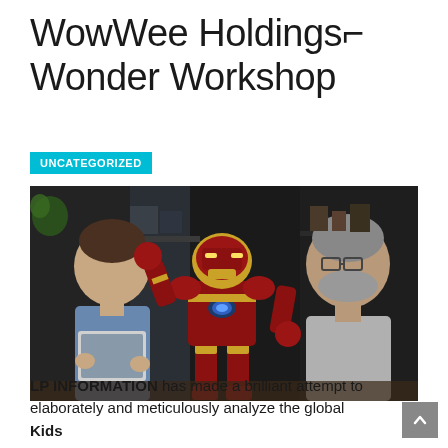WowWee Holdings↵ Wonder Workshop
UNCATEGORIZED
[Figure (photo): Iron Man robot toy standing on a table between a young boy holding a tablet and an older man with glasses, both smiling. Background shows shelves with items.]
LP INFORMATION has made a brilliant attempt to elaborately and meticulously analyze the global Kids